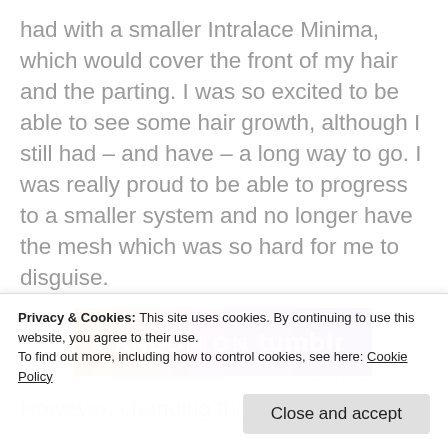had with a smaller Intralace Minima, which would cover the front of my hair and the parting. I was so excited to be able to see some hair growth, although I still had – and have – a long way to go. I was really proud to be able to progress to a smaller system and no longer have the mesh which was so hard for me to disguise.
[Figure (other): Advertisement banner for Fandom on Tumblr with orange to purple gradient background]
However, changing the system meant paying another
Privacy & Cookies: This site uses cookies. By continuing to use this website, you agree to their use.
To find out more, including how to control cookies, see here: Cookie Policy